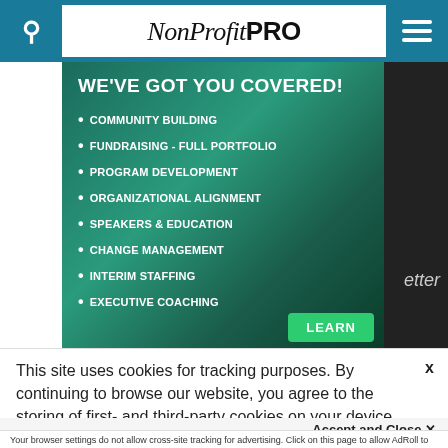NonProfit PRO
[Figure (illustration): Advertisement banner with teal/green background showing 'WE'VE GOT YOU COVERED!' with bullet list of services: COMMUNITY BUILDING, FUNDRAISING - FULL PORTFOLIO, PROGRAM DEVELOPMENT, ORGANIZATIONAL ALIGNMENT, SPEAKERS & EDUCATION, CHANGE MANAGEMENT, INTERIM STAFFING, EXECUTIVE COACHING. Green LEARN button at bottom right.]
This site uses cookies for tracking purposes. By continuing to browse our website, you agree to the storing of first- and third-party cookies on your device to enhance site navigation, analyze site usage, and assist in our marketing and
Accept and Close ✕
Your browser settings do not allow cross-site tracking for advertising. Click on this page to allow AdRoll to use cross-site tracking to tailor ads to you. Learn more or opt out of this AdRoll tracking by clicking here. This message only appears once.